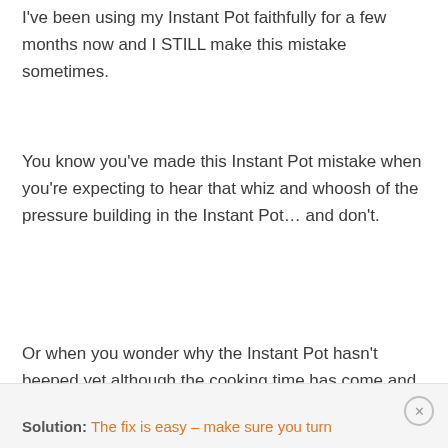I've been using my Instant Pot faithfully for a few months now and I STILL make this mistake sometimes.
You know you've made this Instant Pot mistake when you're expecting to hear that whiz and whoosh of the pressure building in the Instant Pot… and don't.
Or when you wonder why the Instant Pot hasn't beeped yet although the cooking time has come and gone.
Solution: The fix is easy – make sure you turn